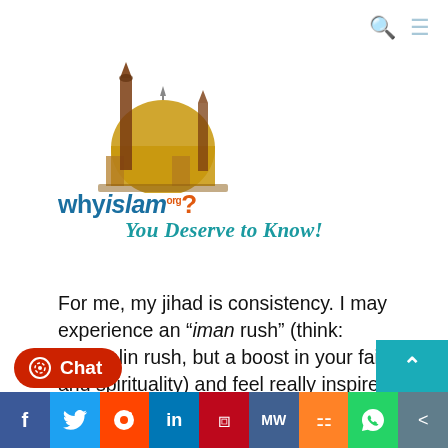[Figure (logo): WhyIslam.org logo with mosque illustration and tagline 'You Deserve to Know!']
For me, my jihad is consistency. I may experience an “iman rush” (think: adrenalin rush, but a boost in your faith and spirituality) and feel really inspired and motivated to implement new habits of reading Quran and praying extra prayers. However, with just one day skipped, the good habit can depart from quickly as it came into it, for jihad